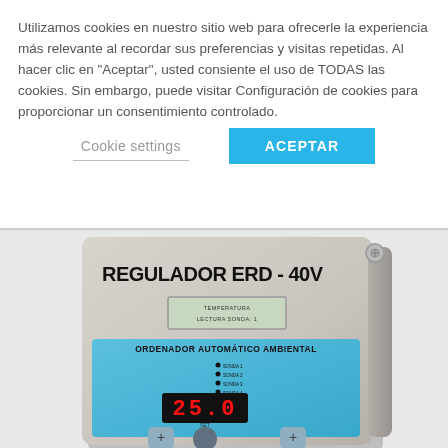Utilizamos cookies en nuestro sitio web para ofrecerle la experiencia más relevante al recordar sus preferencias y visitas repetidas. Al hacer clic en "Aceptar", usted consiente el uso de TODAS las cookies. Sin embargo, puede visitar Configuración de cookies para proporcionar un consentimiento controlado.
Cookie settings
ACEPTAR
[Figure (photo): Photo of REGULADOR ERD - 40V device, an ORDENADOR AUTOMÁTICO AMBIENTAL (Automatic Environmental Controller) showing a gray/beige enclosure with a blue control panel, LCD display reading TEMPERATURA / LECTURA SONDA:1, red digital display showing 25.0, indicator dots for SONDA 1-4, and control buttons including SET button.]